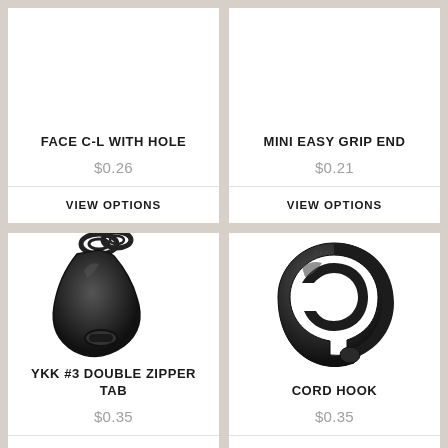FACE C-L WITH HOLE
$0.26
VIEW OPTIONS
MINI EASY GRIP END
$0.21
VIEW OPTIONS
[Figure (photo): Black YKK #3 double zipper tab pull, elongated teardrop shape with double ring at top]
YKK #3 DOUBLE ZIPPER TAB
$0.35
VIEW OPTIONS
[Figure (photo): Black cord hook, C-shaped or G-shaped heavy plastic hook component]
CORD HOOK
$0.35
VIEW OPTIONS